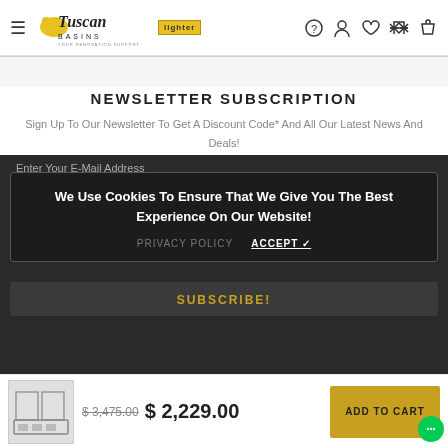[Figure (logo): Tuscan Basins logo with yellow badge and navigation icons including hamburger menu, question mark, user, heart, scales, and shopping bag]
NEWSLETTER SUBSCRIPTION
Sign Up To Our Newsletter To Get A Discount Code* And All Our Latest News And Deals!
Enter Your E-Mail Address
We Use Cookies To Ensure That We Give You The Best Experience On Our Website!
SUBSCRIBE!
PRIVACY POLICY    ACCEPT ✓
$ 3,475.00  $ 2,229.00   ADD TO CART